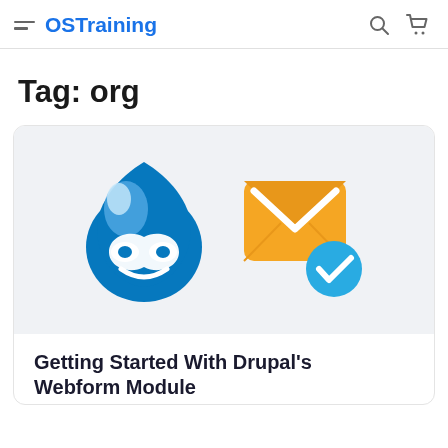OSTraining
Tag: org
[Figure (screenshot): Card showing Drupal logo (blue water drop with infinity symbol) and an orange email envelope icon with a blue checkmark badge, on a light grey background.]
Getting Started With Drupal's Webform Module